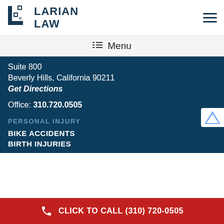[Figure (logo): Larian Law logo with stylized L icon and text 'LARIAN LAW']
[Figure (other): Hamburger menu icon (three horizontal lines)]
≡ Menu
Suite 800
Beverly Hills, California 90211
Get Directions
Office: 310.720.0505
PERSONAL INJURY
BIKE ACCIDENTS
BIRTH INJURIES
CLICK TO CALL (310) 720-0505